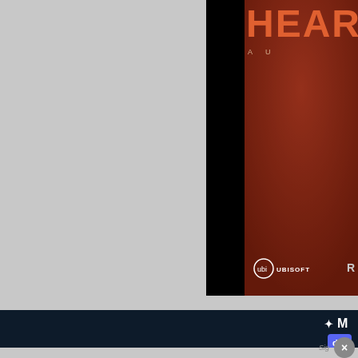[Figure (screenshot): Screenshot of a website showing a partial game cover image for what appears to be 'Heartland' or similar title by Ubisoft. Left side is light gray background, right side shows a dark red/brown game cover with partial text 'HEARTL...' in orange letters, small subtitle text 'AU...', and Ubisoft logo with circle icon at bottom left of the cover. A partial 'R' letter is visible at far right.]
[Figure (screenshot): Dark navy blue navigation bar/section at bottom of the page. Contains a partial logo at far right with stylized 'M' icon in white, and a Discord button icon (blue rounded square with white Discord logo icon).]
Sig
[Figure (screenshot): Gray footer area with a circular close/dismiss button with an 'x' symbol.]